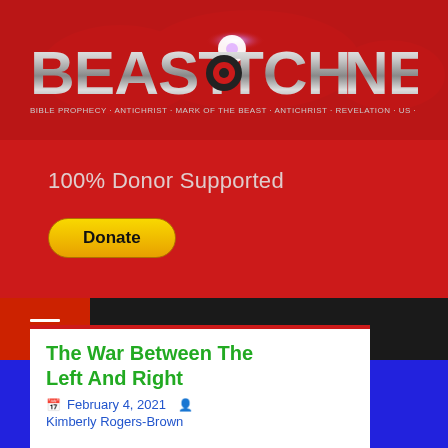[Figure (logo): BeastWatch News logo with metallic chrome text on dark red background with world map graphic and lens flare]
100% Donor Supported
Donate
[Figure (other): Navigation bar with hamburger menu icon on red background, dark background to the right]
The War Between The Left And Right
February 4, 2021
Kimberly Rogers-Brown